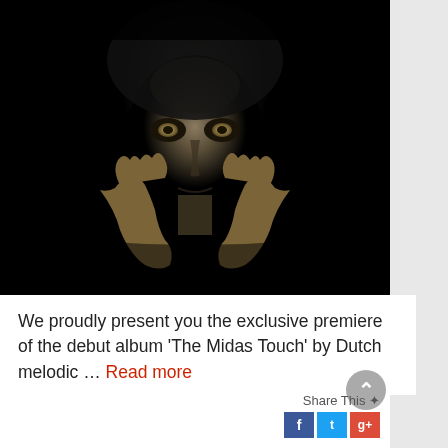[Figure (photo): Dark artistic portrait photo of a person with golden/dark makeup, hands raised to their face framing their chin, against a black background. High contrast, dramatic lighting.]
We proudly present you the exclusive premiere of the debut album 'The Midas Touch' by Dutch melodic … Read more